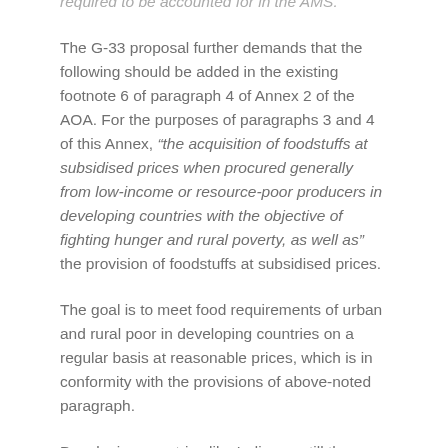required to be accounted for in the AMS.
The G-33 proposal further demands that the following should be added in the existing footnote 6 of paragraph 4 of Annex 2 of the AOA. For the purposes of paragraphs 3 and 4 of this Annex, “the acquisition of foodstuffs at subsidised prices when procured generally from low-income or resource-poor producers in developing countries with the objective of fighting hunger and rural poverty, as well as” the provision of foodstuffs at subsidised prices.
The goal is to meet food requirements of urban and rural poor in developing countries on a regular basis at reasonable prices, which is in conformity with the provisions of above-noted paragraph.
Developing countries like India are still the